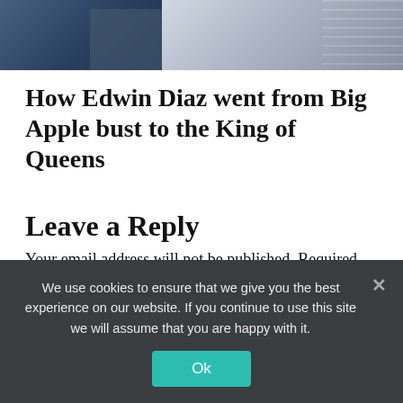[Figure (photo): Sports photograph showing baseball players, partially cropped at the top of the page]
How Edwin Diaz went from Big Apple bust to the King of Queens
Leave a Reply
Your email address will not be published. Required fields are marked *
Comment *
We use cookies to ensure that we give you the best experience on our website. If you continue to use this site we will assume that you are happy with it.